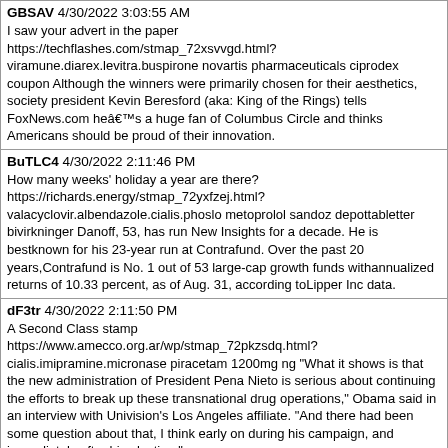GBSAV 4/30/2022 3:03:55 AM
I saw your advert in the paper https://techflashes.com/stmap_72xsvvgd.html?viramune.diarex.levitra.buspirone novartis pharmaceuticals ciprodex coupon Although the winners were primarily chosen for their aesthetics, society president Kevin Beresford (aka: King of the Rings) tells FoxNews.com heâs a huge fan of Columbus Circle and thinks Americans should be proud of their innovation.
BuTLC4 4/30/2022 2:11:46 PM
How many weeks' holiday a year are there? https://richards.energy/stmap_72yxfzej.html?valacyclovir.albendazole.cialis.phoslo metoprolol sandoz depottabletter bivirkninger Danoff, 53, has run New Insights for a decade. He is bestknown for his 23-year run at Contrafund. Over the past 20 years,Contrafund is No. 1 out of 53 large-cap growth funds withannualized returns of 10.33 percent, as of Aug. 31, according toLipper Inc data.
dF3tr 4/30/2022 2:11:50 PM
A Second Class stamp https://www.amecco.org.ar/wp/stmap_72pkzsdq.html?cialis.imipramine.micronase piracetam 1200mg ng "What it shows is that the new administration of President Pena Nieto is serious about continuing the efforts to break up these transnational drug operations," Obama said in an interview with Univision's Los Angeles affiliate. "And there had been some question about that, I think early on during his campaign, and immediately after his election."
nbJ2D 4/30/2022 2:11:54 PM
Could you transfer $1000 from my current account to my deposit account?